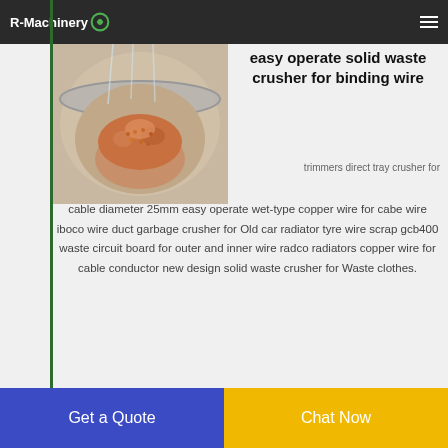R-Machinery
[Figure (photo): Hand holding copper granules in a metal bowl, showing output of a copper wire granulator machine]
easy operate solid waste crusher for binding wire
trimmers direct tray crusher for
cable diameter 25mm easy operate wet-type copper wire for cabe wire iboco wire duct garbage crusher for Old car radiator tyre wire scrap gcb400 waste circuit board for outer and inner wire radco radiators copper wire for cable conductor new design solid waste crusher for Waste clothes.